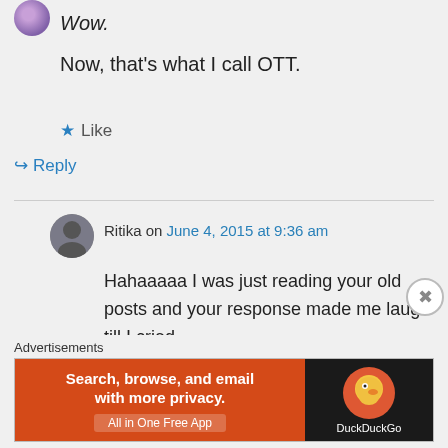Wow.
Now, that's what I call OTT.
★ Like
↳ Reply
Ritika on June 4, 2015 at 9:36 am
Hahaaaaa I was just reading your old posts and your response made me laugh till I cried.
Advertisements
[Figure (screenshot): DuckDuckGo advertisement banner: 'Search, browse, and email with more privacy. All in One Free App' on orange background with DuckDuckGo duck logo on dark background]